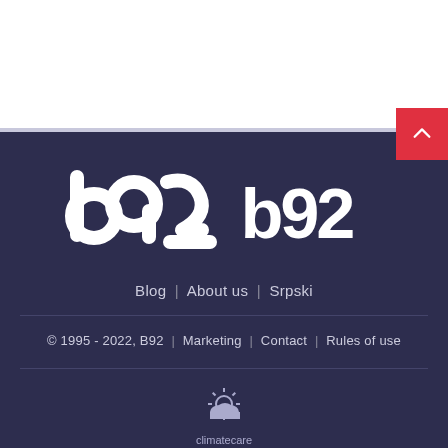[Figure (logo): B92 logo in white on dark navy background]
Blog | About us | Srpski
© 1995 - 2022, B92 | Marketing | Contact | Rules of use
[Figure (logo): Climatecare logo with sun/cloud icon and text 'climatecare']